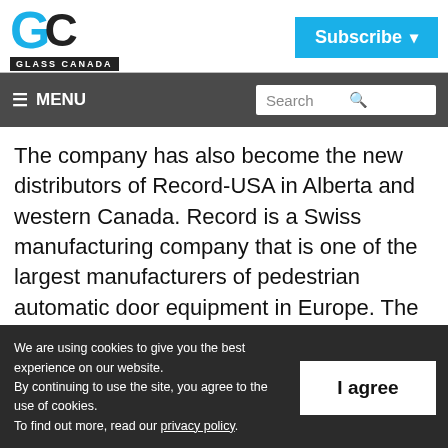[Figure (logo): Glass Canada logo with 'GC' letters and black bar with 'GLASS CANADA' text]
[Figure (other): Subscribe button in blue with dropdown arrow]
☰ MENU   Search 🔍
The company has also become the new distributors of Record-USA in Alberta and western Canada. Record is a Swiss manufacturing company that is one of the largest manufacturers of pedestrian automatic door equipment in Europe. The
We are using cookies to give you the best experience on our website.
By continuing to use the site, you agree to the use of cookies.
To find out more, read our privacy policy.